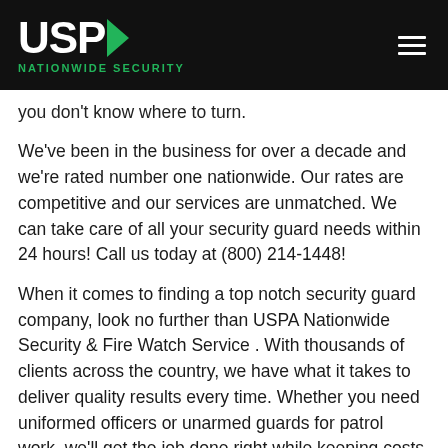[Figure (logo): USPA Nationwide Security logo with white text on black background and green arrow, plus hamburger menu icon]
you don't know where to turn.
We've been in the business for over a decade and we're rated number one nationwide. Our rates are competitive and our services are unmatched. We can take care of all your security guard needs within 24 hours! Call us today at (800) 214-1448!
When it comes to finding a top notch security guard company, look no further than USPA Nationwide Security & Fire Watch Service . With thousands of clients across the country, we have what it takes to deliver quality results every time. Whether you need uniformed officers or unarmed guards for patrol work, we'll get the job done right while keeping costs low. Give us a call at (800) 214-1448 , or fill out our online quote request form today!